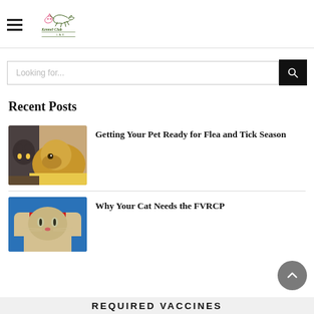[Figure (logo): Kennel Club LAX logo with silhouette of dogs and a cat, and text 'Kennel Club LAX']
[Figure (other): Search bar with placeholder 'Looking for...' and a dark search button with magnifying glass icon]
Recent Posts
[Figure (photo): Photo of a dark grey cat and a golden retriever dog lying together with a yellow blanket]
Getting Your Pet Ready for Flea and Tick Season
[Figure (photo): Photo of a cat being held by someone in blue scrubs, appearing to be at a veterinarian]
Why Your Cat Needs the FVRCP
REQUIRED VACCINES